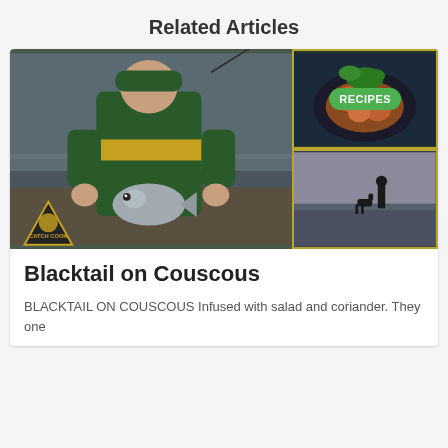Related Articles
[Figure (photo): A man in a green and yellow jacket holding a fish on a beach, with a Catch Cook logo in the bottom left. Side panels show a seafood dish with a RECIPES badge and a person walking on a beach with a dog.]
Blacktail on Couscous
BLACKTAIL ON COUSCOUS Infused with salad and coriander. They one